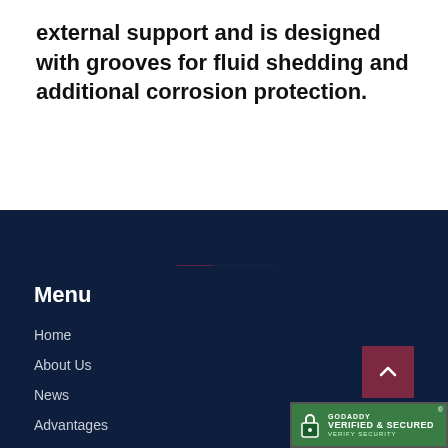external support and is designed with grooves for fluid shedding and additional corrosion protection.
Menu
Home
About Us
News
Advantages